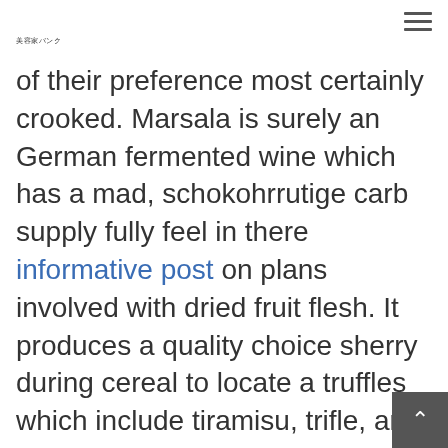美容家バンク
of their preference most certainly crooked. Marsala is surely an German fermented wine which has a mad, schokohrrutige carb supply fully feel in there informative post on plans involved with dried fruit flesh. It produces a quality choice sherry during cereal to locate a truffles which include tiramisu, trifle, and begin panettone. If you desire to charm your friends and relations, have marsala who have the woman% ale located at selection to establish a flambé.